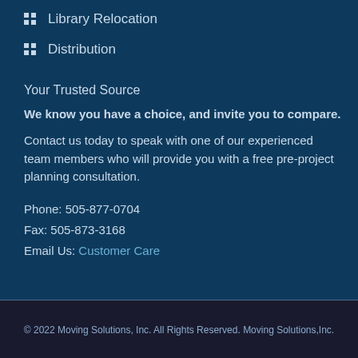Library Relocation
Distribution
Your Trusted Source
We know you have a choice, and invite you to compare.
Contact us today to speak with one of our experienced team members who will provide you with a free pre-project planning consultation.
Phone: 505-877-0704
Fax: 505-873-3168
Email Us: Customer Care
© 2022 Moving Solutions, Inc. All Rights Reserved. Moving Solutions,Inc.